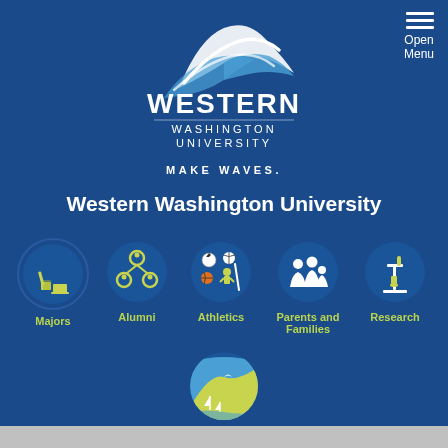[Figure (logo): Western Washington University logo with wave graphic and text]
MAKE WAVES.
Western Washington University
[Figure (infographic): Navigation icons row: Majors (books/laptop), Alumni (network), Athletics (sports/person), Parents and Families (family figures), Research (microscope)]
[Figure (infographic): Visit icon: circular with mountain/sailboat landscape scene]